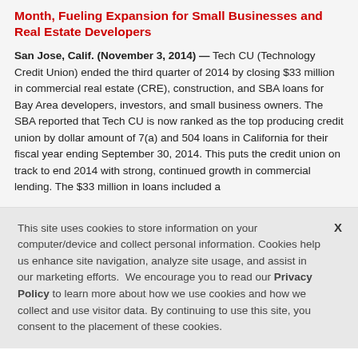Month, Fueling Expansion for Small Businesses and Real Estate Developers
San Jose, Calif. (November 3, 2014) — Tech CU (Technology Credit Union) ended the third quarter of 2014 by closing $33 million in commercial real estate (CRE), construction, and SBA loans for Bay Area developers, investors, and small business owners. The SBA reported that Tech CU is now ranked as the top producing credit union by dollar amount of 7(a) and 504 loans in California for their fiscal year ending September 30, 2014. This puts the credit union on track to end 2014 with strong, continued growth in commercial lending. The $33 million in loans included a
This site uses cookies to store information on your computer/device and collect personal information. Cookies help us enhance site navigation, analyze site usage, and assist in our marketing efforts. We encourage you to read our Privacy Policy to learn more about how we use cookies and how we collect and use visitor data. By continuing to use this site, you consent to the placement of these cookies.